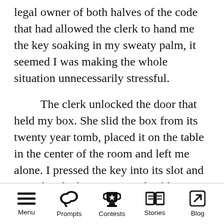legal owner of both halves of the code that had allowed the clerk to hand me the key soaking in my sweaty palm, it seemed I was making the whole situation unnecessarily stressful.
The clerk unlocked the door that held my box. She slid the box from its twenty year tomb, placed it on the table in the center of the room and left me alone. I pressed the key into its slot and turned its lock. I was inexplicably surprised when no sirens sounded and no steel bars slammed down to entrap me. This was followed by a mild sense of disappointment at the overall lack of fanfare for such a momentous moment in my life.
Menu  Prompts  Contests  Stories  Blog